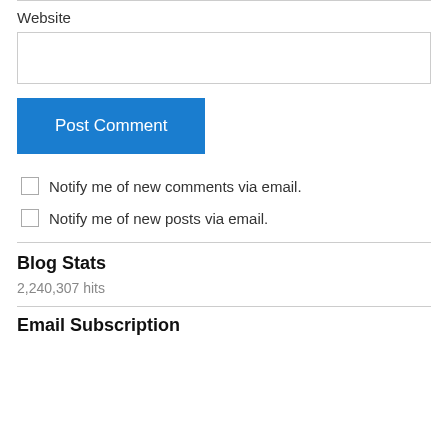Website
Post Comment
Notify me of new comments via email.
Notify me of new posts via email.
Blog Stats
2,240,307 hits
Email Subscription